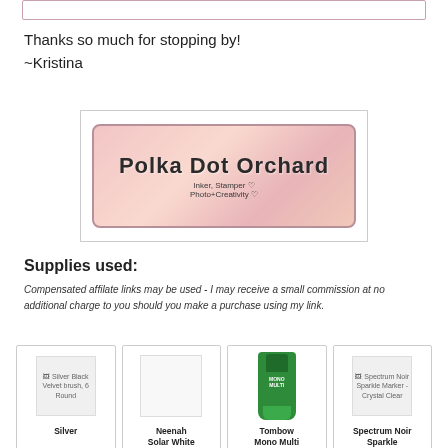[Figure (illustration): Top decorative bar/border element with pink outline]
Thanks so much for stopping by!
~Kristina
[Figure (logo): Polka Dot Orchard logo with pink floral background, script text reading 'Polka Dot Orchard' with subtitle 'Inker, Stamper, Photo+Creativity']
Supplies used:
Compensated affilate links may be used - I may receive a small commission at no additional charge to you should you make a purchase using my link.
[Figure (photo): Silver Black Velvet brush, 6 Round product image (broken/missing image icon)]
Silver
[Figure (photo): Neenah Solar White product image (white square placeholder)]
Neenah Solar White
[Figure (photo): Tombow Mono Multi product image - green bottle/marker]
Tombow Mono Multi
[Figure (photo): Spectrum Noir Sparkle Marker - Crystal Clear product image (broken/missing image icon)]
Spectrum Noir Sparkle